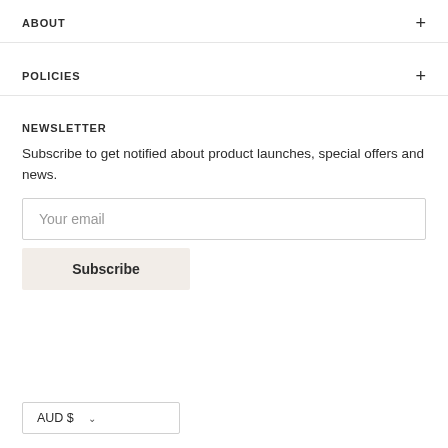ABOUT
POLICIES
NEWSLETTER
Subscribe to get notified about product launches, special offers and news.
Your email
Subscribe
AUD $